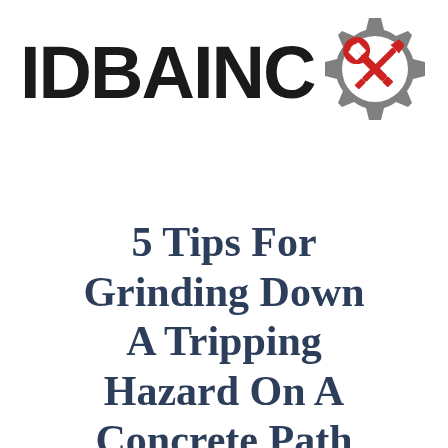[Figure (logo): IDBAINC logo with text 'IDBAINC' in bold black letters and a grey gear icon containing red crossed wrench and screwdriver tools]
5 Tips For Grinding Down A Tripping Hazard On A Concrete Path